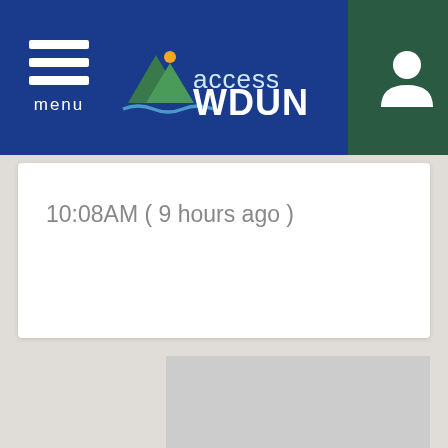accessWDUN
10:08AM ( 9 hours ago )
[Figure (other): Gray placeholder advertisement or image block]